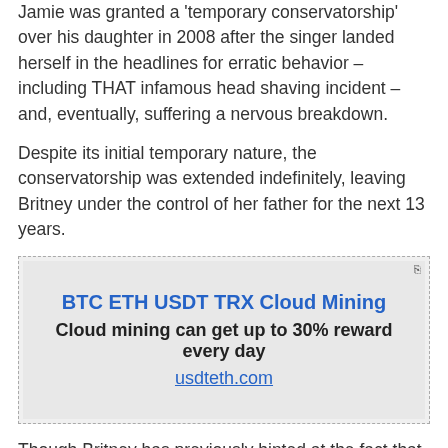Jamie was granted a 'temporary conservatorship' over his daughter in 2008 after the singer landed herself in the headlines for erratic behavior – including THAT infamous head shaving incident – and, eventually, suffering a nervous breakdown.
Despite its initial temporary nature, the conservatorship was extended indefinitely, leaving Britney under the control of her father for the next 13 years.
[Figure (infographic): Advertisement box with dashed border. Title: BTC ETH USDT TRX Cloud Mining. Subtitle: Cloud mining can get up to 30% reward every day. Link: usdteth.com]
Though Britney has previously hinted at the fact that the conservatorship felt 'just like Groundhog Day every day' to her, the Lucky singer rarely spoke about the arrangement or the extent of her father's involvement in her financial